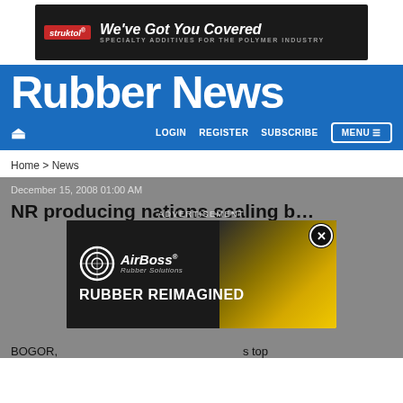[Figure (other): Struktol advertisement banner: 'We've Got You Covered - Specialty Additives for the Polymer Industry' on dark background]
Rubber News
LOGIN   REGISTER   SUBSCRIBE   MENU
Home > News
December 15, 2008 01:00 AM
NR producing nations scaling back expo...
[Figure (other): AirBoss Rubber Solutions advertisement: 'RUBBER REIMAGINED' with AirBoss logo and yellow rubber imagery]
BOGOR, ... s top